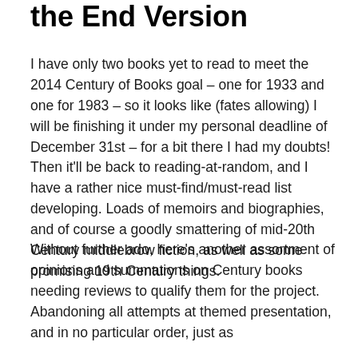the End Version
I have only two books yet to read to meet the 2014 Century of Books goal – one for 1933 and one for 1983 – so it looks like (fates allowing) I will be finishing it under my personal deadline of December 31st – for a bit there I had my doubts! Then it'll be back to reading-at-random, and I have a rather nice must-find/must-read list developing. Loads of memoirs and biographies, and of course a goodly smattering of mid-20th Century middlebrow fiction, as well as some promising 19th Century things.
Without further ado, here's another assortment of opinions and summations on Century books needing reviews to qualify them for the project. Abandoning all attempts at themed presentation, and in no particular order, just as